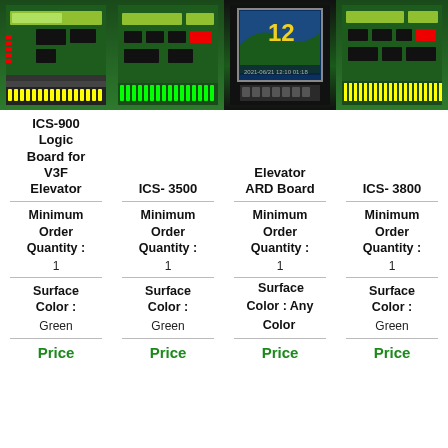[Figure (photo): PCB circuit board photo - ICS-900 Logic Board for V3F Elevator]
[Figure (photo): PCB circuit board photo - ICS-3500]
[Figure (photo): Elevator display screen showing number 12 - Elevator ARD Board]
[Figure (photo): PCB circuit board photo - ICS-3800]
ICS-900 Logic Board for V3F Elevator
ICS- 3500
Elevator ARD Board
ICS- 3800
| Minimum Order Quantity: | Minimum Order Quantity: | Minimum Order Quantity: | Minimum Order Quantity: |
| --- | --- | --- | --- |
| 1 | 1 | 1 | 1 |
| Surface Color: | Surface Color: | Surface Color: | Surface Color: |
| --- | --- | --- | --- |
| Green | Green | Any Color | Green |
Price
Price
Price
Price